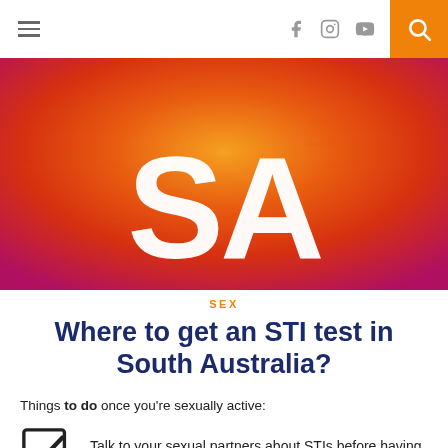Navigation bar with hamburger menu, social icons (Facebook, Instagram, YouTube), and search button
[Figure (illustration): Hero banner: orange-red gradient map of Australia with large white 'SA' letters overlay]
SEX
Where to get an STI test in South Australia?
Things to do once you're sexually active:
Talk to your sexual partners about STIs before having sex